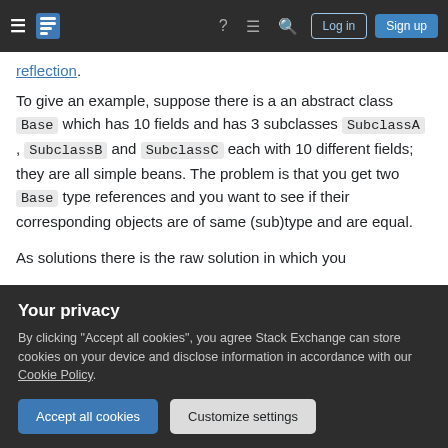Stack Exchange navigation bar with Log in and Sign up buttons
reflection.
To give an example, suppose there is a an abstract class Base which has 10 fields and has 3 subclasses SubclassA , SubclassB and SubclassC each with 10 different fields; they are all simple beans. The problem is that you get two Base type references and you want to see if their corresponding objects are of same (sub)type and are equal.
As solutions there is the raw solution in which you
Your privacy
By clicking "Accept all cookies", you agree Stack Exchange can store cookies on your device and disclose information in accordance with our Cookie Policy.
Accept all cookies
Customize settings